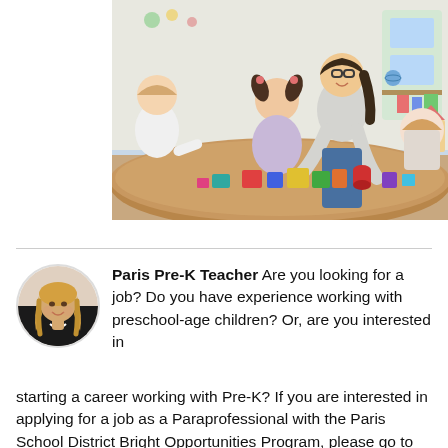[Figure (photo): A smiling female teacher with glasses leans over a wooden table, assisting young preschool-age children who are playing with colorful wooden building blocks in a bright classroom setting.]
Paris Pre-K Teacher Are you looking for a job? Do you have experience working with preschool-age children? Or, are you interested in starting a career working with Pre-K? If you are interested in applying for a job as a Paraprofessional with the Paris School District Bright Opportunities Program, please go to our